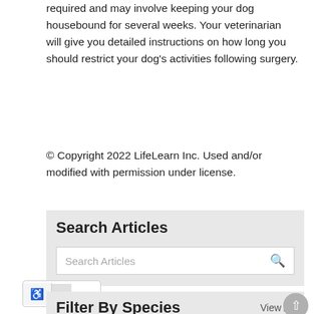required and may involve keeping your dog housebound for several weeks. Your veterinarian will give you detailed instructions on how long you should restrict your dog's activities following surgery.
© Copyright 2022 LifeLearn Inc. Used and/or modified with permission under license.
Search Articles
Search Articles
Filter By Species
View All